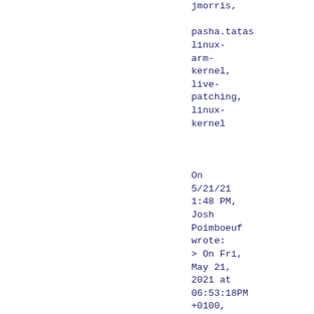jmorris,

pasha.tatas
linux-arm-kernel,
live-patching,
linux-kernel


On 5/21/21
1:48 PM,
Josh
Poimboeuf
wrote:
> On Fri,
May 21,
2021 at
06:53:18PM
+0100,
Mark
Brown
wrote:
>> On
Fri, May
21, 2021